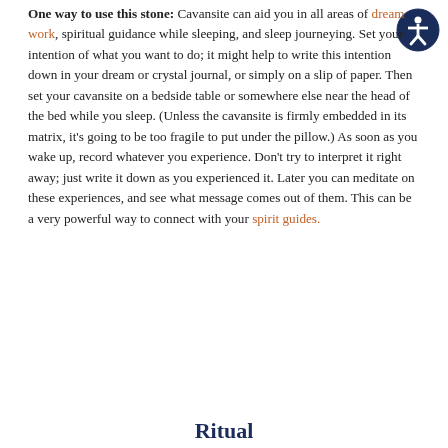One way to use this stone: Cavansite can aid you in all areas of dream work, spiritual guidance while sleeping, and sleep journeying. Set your intention of what you want to do; it might help to write this intention down in your dream or crystal journal, or simply on a slip of paper. Then set your cavansite on a bedside table or somewhere else near the head of the bed while you sleep. (Unless the cavansite is firmly embedded in its matrix, it's going to be too fragile to put under the pillow.) As soon as you wake up, record whatever you experience. Don't try to interpret it right away; just write it down as you experienced it. Later you can meditate on these experiences, and see what message comes out of them. This can be a very powerful way to connect with your spirit guides.
Ritual